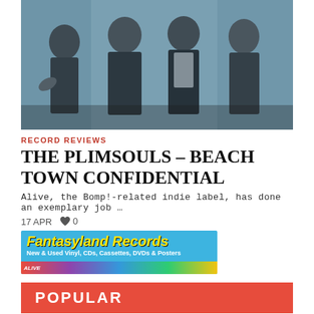[Figure (photo): Black and white photo of a band (The Plimsouls), four young men standing together, one holding a trumpet, against a brick wall background with blue tint]
RECORD REVIEWS
THE PLIMSOULS – BEACH TOWN CONFIDENTIAL
Alive, the Bomp!-related indie label, has done an exemplary job …
17 APR   ♥ 0
[Figure (photo): Advertisement banner for Fantasyland Records. Blue background with yellow italic bold text 'Fantasyland Records', white subtext 'New & Used Vinyl, CDs, Cassettes, DVDs & Posters', colorful bottom strip with vinyl record image]
POPULAR